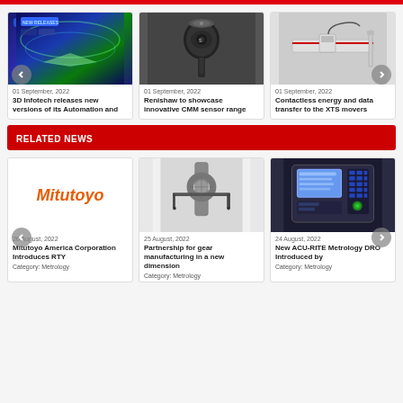[Figure (screenshot): 3D Infotech new releases banner with blue/green gradient background]
01 September, 2022
3D Infotech releases new versions of its Automation and
[Figure (photo): Renishaw CMM sensor probe in black]
01 September, 2022
Renishaw to showcase innovative CMM sensor range
[Figure (photo): Contactless energy and data transfer linear scale device]
01 September, 2022
Contactless energy and data transfer to the XTS movers
RELATED NEWS
[Figure (logo): Mitutoyo orange italic logo on white background]
26 August, 2022
Mitutoyo America Corporation Introduces RTY
Category: Metrology
[Figure (photo): Gear manufacturing measurement probe in new dimension setup]
25 August, 2022
Partnership for gear manufacturing in a new dimension
Category: Metrology
[Figure (photo): ACU-RITE Metrology DRO device with blue keypad]
24 August, 2022
New ACU-RITE Metrology DRO Introduced by
Category: Metrology